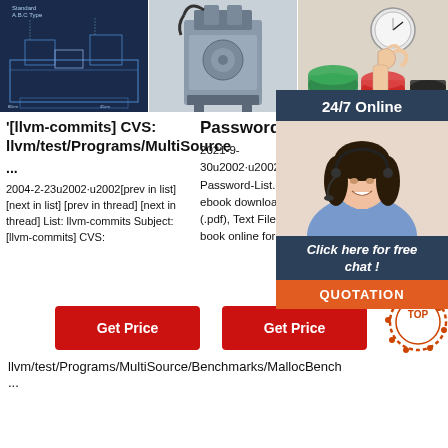[Figure (photo): Schematic engineering diagram of industrial mixing machine on blue background]
[Figure (photo): Industrial stainless steel mixing/processing machine]
[Figure (photo): Hand holding gauge over paint/color sample cups]
[Figure (infographic): 24/7 Online chat widget with woman wearing headset, 'Click here for free chat!' and QUOTATION button]
'[llvm-commits] CVS: llvm/test/Programs/MultiSource ...
2004-2-23u2002·u2002[prev in list] [next in list] [prev in thread] [next in thread] List: llvm-commits Subject: [llvm-commits] CVS: llvm/test/Programs/MultiSource/Benchmarks/MallocBench
...
Password List
2021-9-30u2002·u2002357463527-Password-List.pdf - Free ebook download as PDF File (.pdf), Text File (.txt) or read book online for free.
List of ...
2021-6-30u200330u2002 of Am... download Doc (... PDF File (... File (.t... book o... List of MAC
[Figure (other): Get Price red button]
[Figure (other): Get Price red button]
llvm/test/Programs/MultiSource/Benchmarks/MallocBench
...